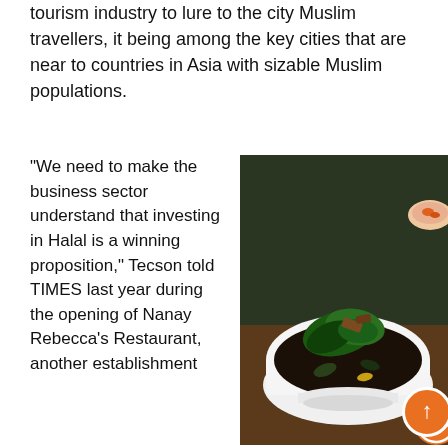tourism industry to lure to the city Muslim travellers, it being among the key cities that are near to countries in Asia with sizable Muslim populations.
“We need to make the business sector understand that investing in Halal is a winning proposition,” Tecson told TIMES last year during the opening of Nanay Rebecca’s Restaurant, another establishment
[Figure (photo): A white bowl of dark soup with green leafy vegetables and other ingredients on top, served on a wooden table with side dishes visible in the background.]
The best-selling caldereta, a Spanish-influenced food specialty that the hotel has modified by